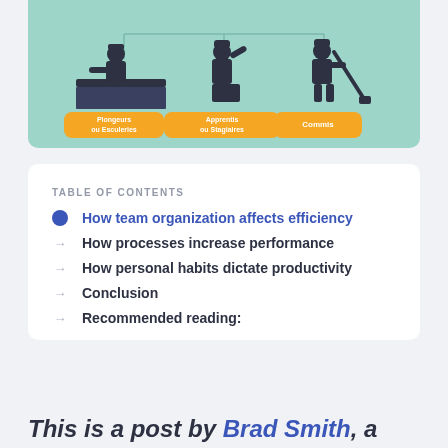[Figure (infographic): Kitchen hierarchy infographic on teal background showing three silhouette figures: Plongeurs ou Esculeries, Apprentis ou Stagiaires, and Commis]
TABLE OF CONTENTS
How team organization affects efficiency
How processes increase performance
How personal habits dictate productivity
Conclusion
Recommended reading:
This is a post by Brad Smith, a